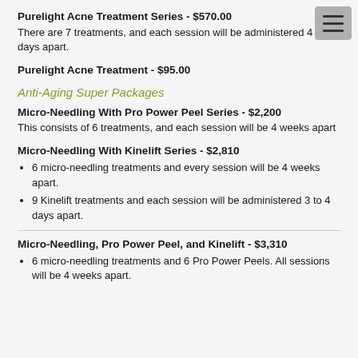Purelight Acne Treatment Series - $570.00
There are 7 treatments, and each session will be administered 4 to 7 days apart.
Purelight Acne Treatment - $95.00
Anti-Aging Super Packages
Micro-Needling With Pro Power Peel Series - $2,200
This consists of 6 treatments, and each session will be 4 weeks apart
Micro-Needling With Kinelift Series - $2,810
6 micro-needling treatments and every session will be 4 weeks apart.
9 Kinelift treatments and each session will be administered 3 to 4 days apart.
Micro-Needling, Pro Power Peel, and Kinelift - $3,310
6 micro-needling treatments and 6 Pro Power Peels. All sessions will be 4 weeks apart.